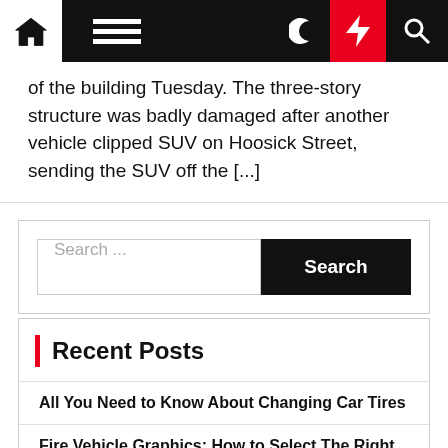Navigation bar with home, menu, moon, bolt, and search icons
of the building Tuesday. The three-story structure was badly damaged after another vehicle clipped SUV on Hoosick Street, sending the SUV off the [...]
Search ...
Recent Posts
All You Need to Know About Changing Car Tires
Fire Vehicle Graphics: How to Select The Right Quality For Your Department
Prime 10 Summer Season Home Improvement